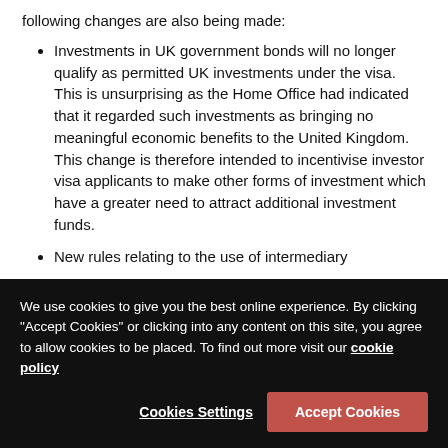following changes are also being made:
Investments in UK government bonds will no longer qualify as permitted UK investments under the visa. This is unsurprising as the Home Office had indicated that it regarded such investments as bringing no meaningful economic benefits to the United Kingdom. This change is therefore intended to incentivise investor visa applicants to make other forms of investment which have a greater need to attract additional investment funds.
New rules relating to the use of intermediary
We use cookies to give you the best online experience. By clicking "Accept Cookies" or clicking into any content on this site, you agree to allow cookies to be placed. To find out more visit our cookie policy